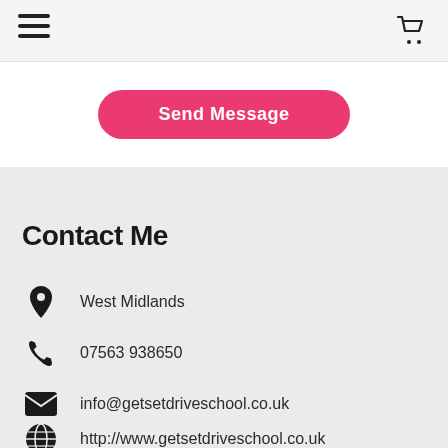Navigation header with hamburger menu and cart icon
Send Message
Contact Me
West Midlands
07563 938650
info@getsetdriveschool.co.uk
http://www.getsetdriveschool.co.uk